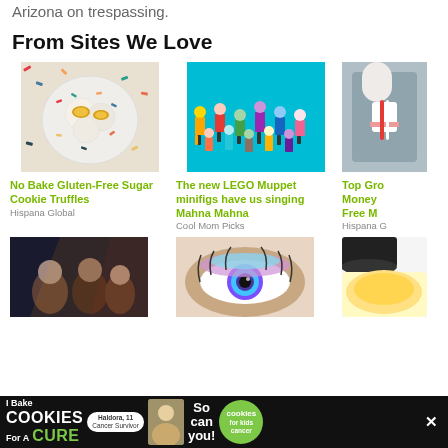Arizona on trespassing.
From Sites We Love
[Figure (photo): Bowl of sugar cookie truffles covered in rainbow sprinkles on a white surface with scattered sprinkles]
No Bake Gluten-Free Sugar Cookie Truffles
Hispana Global
[Figure (photo): LEGO Muppet minifigures arranged on a bright blue background]
The new LEGO Muppet minifigs have us singing Mahna Mahna
Cool Mom Picks
[Figure (photo): Person pouring liquid with a red and white striped straw visible, partially cropped]
Top Gro Money Free M
Hispana G
[Figure (photo): Three people in a cinematic dark scene]
[Figure (photo): Close-up of an eye with colorful eyeshadow]
[Figure (photo): Bowl of yellow food partially visible]
[Figure (advertisement): I Bake Cookies For A Cure advertisement with Haldora, 11 Cancer Survivor, So can you! cookies for kids cancer badge and close button]